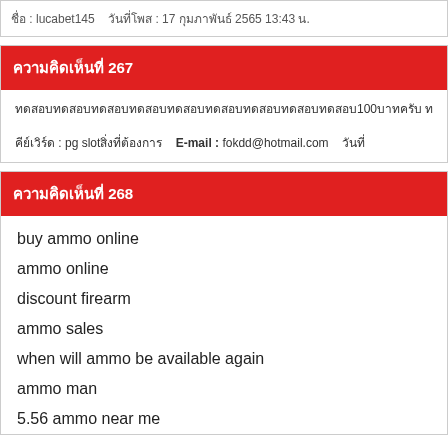ชื่อ : lucabet145   วันที่โพส : 17 กุมภาพันธ์ 2565 13:43 น.
ความคิดเห็นที่ 267
ทดสอบ100บาท อีกอย่างนึงน่ะครับ
คีย์เวิร์ด : pg slotสิ่งที่ต้องการ   E-mail : fokdd@hotmail.com   วัน
ความคิดเห็นที่ 268
buy ammo online
ammo online
discount firearm
ammo sales
when will ammo be available again
ammo man
5.56 ammo near me